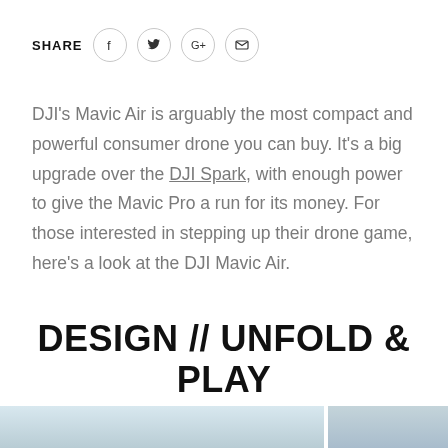SHARE
DJI's Mavic Air is arguably the most compact and powerful consumer drone you can buy. It's a big upgrade over the DJI Spark, with enough power to give the Mavic Pro a run for its money. For those interested in stepping up their drone game, here's a look at the DJI Mavic Air.
DESIGN // UNFOLD & PLAY
[Figure (photo): Two partial photos of a drone (DJI Mavic Air) at the bottom of the page, cropped — sky/outdoor background visible.]